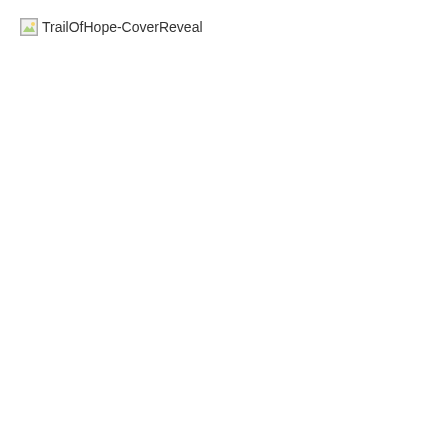[Figure (other): Broken image placeholder with alt text 'TrailOfHope-CoverReveal']